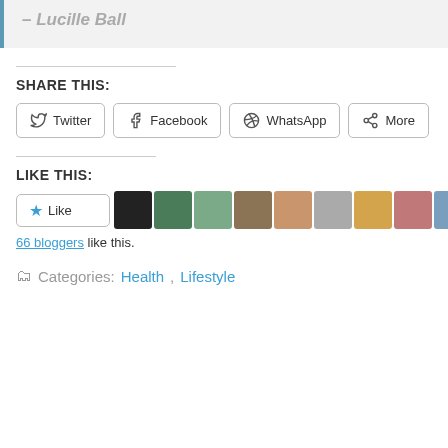– Lucille Ball
SHARE THIS:
Twitter  Facebook  WhatsApp  More
LIKE THIS:
Like  66 bloggers like this.
Categories: Health, Lifestyle